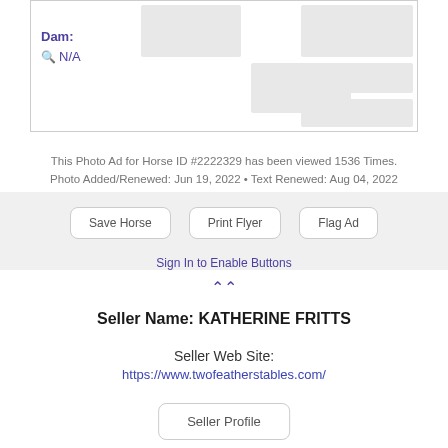Dam:
N/A
This Photo Ad for Horse ID #2222329 has been viewed 1536 Times. Photo Added/Renewed: Jun 19, 2022 • Text Renewed: Aug 04, 2022
Save Horse
Print Flyer
Flag Ad
Sign In to Enable Buttons
Seller Name: KATHERINE FRITTS
Seller Web Site:
https://www.twofeatherstables.com/
Seller Profile